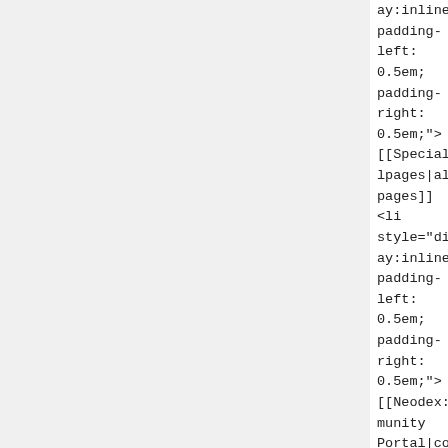ay:inline; padding-left: 0.5em; padding-right: 0.5em;"> [[Special:Allpages|all pages]]</li> <li style="display:inline; padding-left: 0.5em; padding-right: 0.5em;"> [[Neodex:Community Portal|commu
ay:inline; padding-left: 0.5em; padding-right: 0.5em;"> [[Special:Allpages|all pages]]</li> <li style="display:inline; padding-left: 0.5em; padding-right: 0.5em;"> [[Neodex:Community Portal|commu